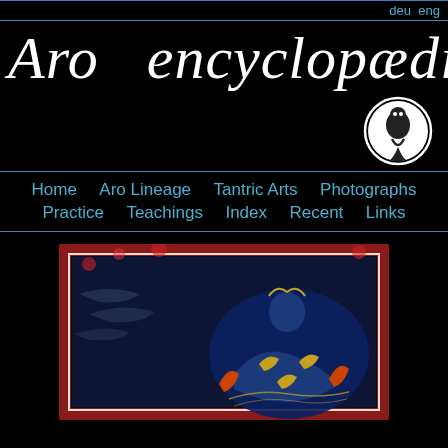deu  eng
Aro encyclopædia
[Figure (logo): Circular logo with stylized snake/dragon figure on white circle, black background]
Home  Aro Lineage  Tantric Arts  Photographs  Practice  Teachings  Index  Recent  Links
[Figure (photo): Tibetan thangka painting showing a deity or figure with ornate decorations, dark blue and red colors with gold details, on a red floral border]